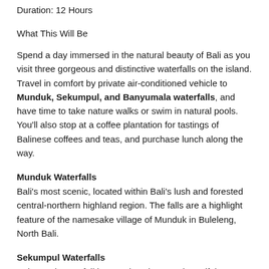Duration: 12 Hours
What This Will Be
Spend a day immersed in the natural beauty of Bali as you visit three gorgeous and distinctive waterfalls on the island. Travel in comfort by private air-conditioned vehicle to Munduk, Sekumpul, and Banyumala waterfalls, and have time to take nature walks or swim in natural pools. You'll also stop at a coffee plantation for tastings of Balinese coffees and teas, and purchase lunch along the way.
Munduk Waterfalls
Bali's most scenic, located within Bali's lush and forested central-northern highland region. The falls are a highlight feature of the namesake village of Munduk in Buleleng, North Bali.
Sekumpul Waterfalls
Sekumpul Waterfall is touted as the most beautiful